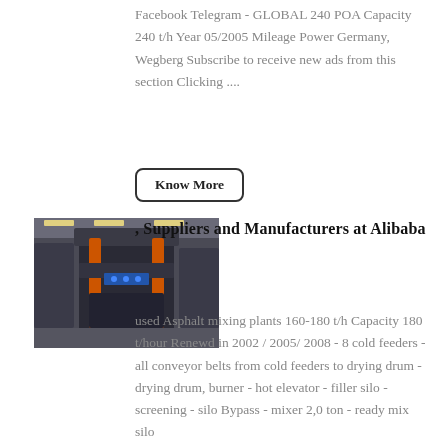Facebook Telegram - GLOBAL 240 POA Capacity 240 t/h Year 05/2005 Mileage Power Germany, Wegberg Subscribe to receive new ads from this section Clicking ....
Know More
[Figure (photo): Industrial machinery, appears to be an asphalt mixing plant or heavy industrial press equipment in a factory setting]
, Suppliers and Manufacturers at Alibaba
used Asphalt mixing plants 160-180 t/h Capacity 180 t/hour Renewd in 2002 / 2005/ 2008 - 8 cold feeders - all conveyor belts from cold feeders to drying drum - drying drum, burner - hot elevator - filler silo - screening - silo Bypass - mixer 2,0 ton - ready mix silo